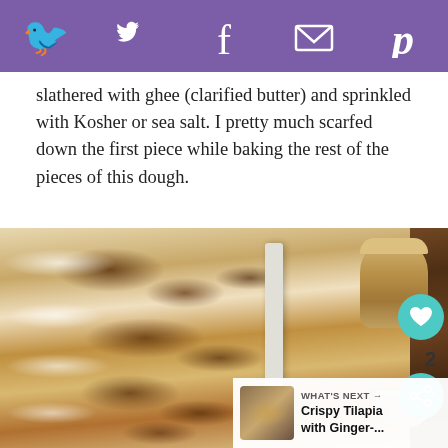Social sharing bar with Twitter, Facebook, email, and Pinterest icons
slathered with ghee (clarified butter) and sprinkled with Kosher or sea salt. I pretty much scarfed down the first piece while baking the rest of the pieces of this dough.
[Figure (photo): Flatbreads (naan) stacked on a white rectangular tray, with a jar of ghee and a small bowl visible in the background on a wooden surface. A teal heart button and share button appear on the right side. A 'What's Next' panel shows Crispy Tilapia with Ginger-... in the bottom right corner.]